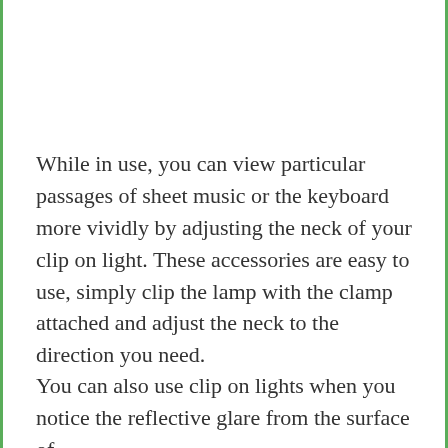While in use, you can view particular passages of sheet music or the keyboard more vividly by adjusting the neck of your clip on light. These accessories are easy to use, simply clip the lamp with the clamp attached and adjust the neck to the direction you need.
You can also use clip on lights when you notice the reflective glare from the surface of